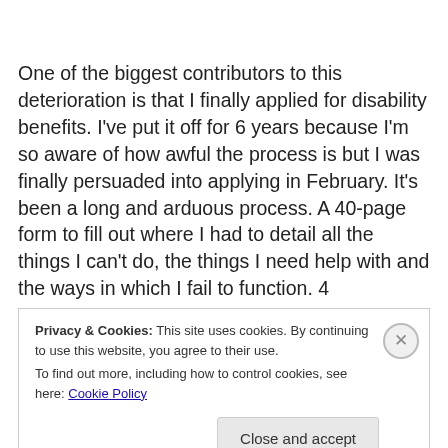One of the biggest contributors to this deterioration is that I finally applied for disability benefits. I've put it off for 6 years because I'm so aware of how awful the process is but I was finally persuaded into applying in February. It's been a long and arduous process. A 40-page form to fill out where I had to detail all the things I can't do, the things I need help with and the ways in which I fail to function. 4
Privacy & Cookies: This site uses cookies. By continuing to use this website, you agree to their use.
To find out more, including how to control cookies, see here: Cookie Policy